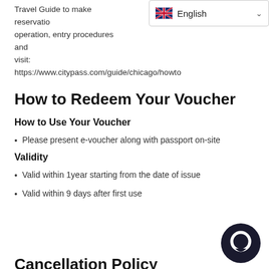Travel Guide to make reservation, operation, entry procedures and ... your visit: https://www.citypass.com/guide/chicago/howto
How to Redeem Your Voucher
How to Use Your Voucher
Please present e-voucher along with passport on-site
Validity
Valid within 1year starting from the date of issue
Valid within 9 days after first use
Cancellation Policy
Free cancellation